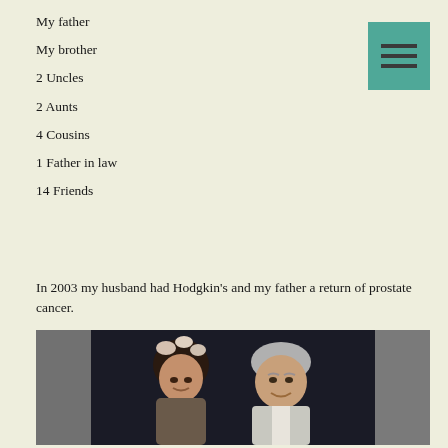My father
My brother
2 Uncles
2 Aunts
4 Cousins
1 Father in law
14 Friends
In 2003 my husband had Hodgkin's and my father a return of prostate cancer.
[Figure (photo): A photograph of two people — a woman with dark curly hair wearing a floral headpiece and a man with grey hair in a light suit — smiling together against a dark background, with grey panels on the sides.]